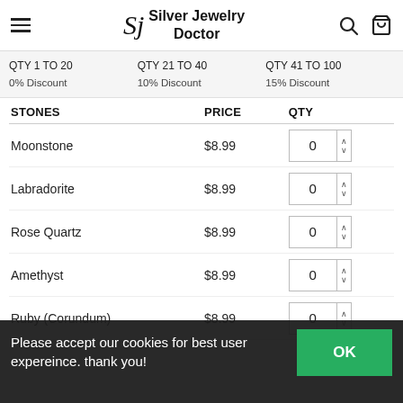Silver Jewelry Doctor
QTY 1 TO 20  0% Discount | QTY 21 TO 40  10% Discount | QTY 41 TO 100  15% Discount
| STONES | PRICE | QTY |
| --- | --- | --- |
| Moonstone | $8.99 | 0 |
| Labradorite | $8.99 | 0 |
| Rose Quartz | $8.99 | 0 |
| Amethyst | $8.99 | 0 |
| Ruby (Corundum) | $8.99 | 0 |
| Emerald (Corundum) | $8.99 | 0 |
Please accept our cookies for best user expereince. thank you!